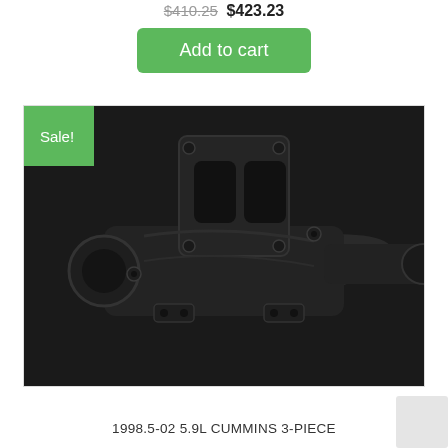$410.25 $423.23
Add to cart
[Figure (photo): Close-up photo of a black cast iron 1998.5-02 5.9L Cummins 3-piece exhaust manifold with turbo flange on a white background. A green 'Sale!' badge is overlaid in the top-left corner of the image.]
1998.5-02 5.9L CUMMINS 3-PIECE